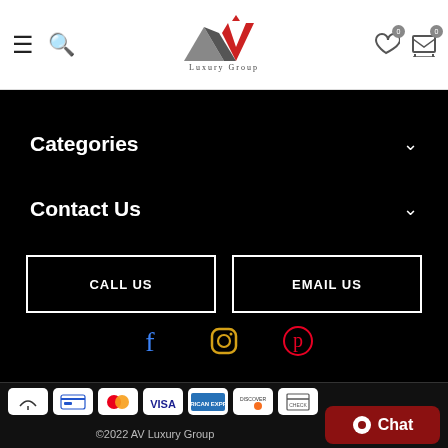[Figure (logo): AV Luxury Group logo with mountain/arrow design in grey and red]
Categories
Contact Us
CALL US
EMAIL US
[Figure (illustration): Social media icons: Facebook (blue), Instagram (gold), Pinterest (red)]
[Figure (illustration): Payment method icons: various payment cards including Mastercard, Visa, American Express, Discover]
©2022 AV Luxury Group